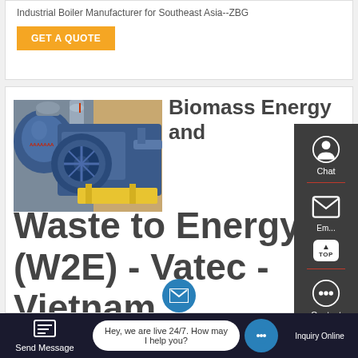Industrial Boiler Manufacturer for Southeast Asia--ZBG
GET A QUOTE
[Figure (photo): Industrial biomass boiler equipment in a facility, showing large blue machinery and industrial components]
Biomass Energy and Waste to Energy (W2E) - Vatec - Vietnam ...
31/10/2016 · A biomass power plant is a thermal power plant which burns vegetable fuels such as bagasse, wood, trash, rice ... ltural ... hells.
Chat
Email
Contact
Send Message
Hey, we are live 24/7. How may I help you?
Inquiry Online